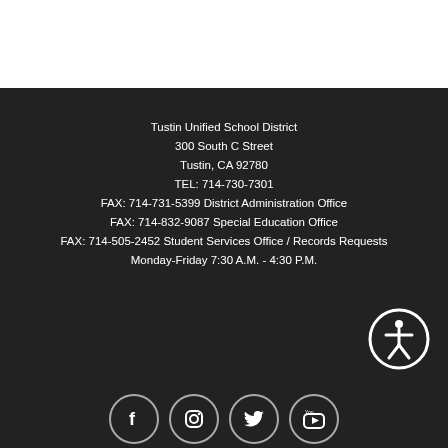Tustin Unified School District
300 South C Street
Tustin, CA 92780
TEL: 714-730-7301
FAX: 714-731-5399 District Administration Office
FAX: 714-832-9087 Special Education Office
FAX: 714-505-2452 Student Services Office / Records Requests
Monday-Friday 7:30 A.M. - 4:30 P.M.
[Figure (illustration): Accessibility icon — person in circle outline]
[Figure (illustration): Social media icons: Facebook, Instagram, Twitter, YouTube — circular outline buttons]